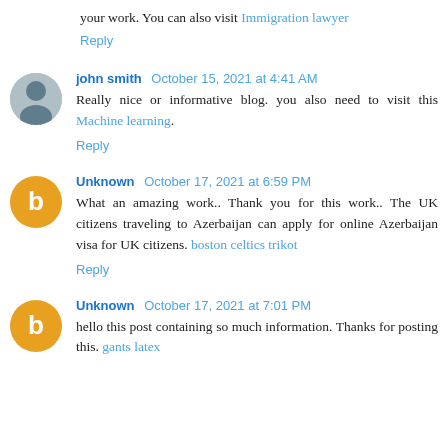your work. You can also visit Immigration lawyer
Reply
john smith  October 15, 2021 at 4:41 AM
Really nice or informative blog. you also need to visit this Machine learning.
Reply
Unknown  October 17, 2021 at 6:59 PM
What an amazing work.. Thank you for this work.. The UK citizens traveling to Azerbaijan can apply for online Azerbaijan visa for UK citizens. boston celtics trikot
Reply
Unknown  October 17, 2021 at 7:01 PM
hello this post containing so much information. Thanks for posting this. gants latex